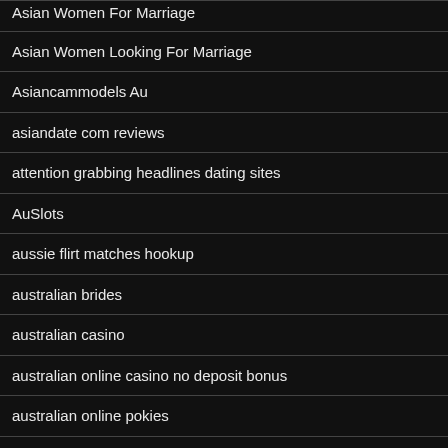Asian Women For Marriage
Asian Women Looking For Marriage
Asiancammodels Au
asiandate com reviews
attention grabbing headlines dating sites
AuSlots
aussie flirt matches hookup
australian brides
australian casino
australian online casino no deposit bonus
australian online pokies
australian writing
austrian brides